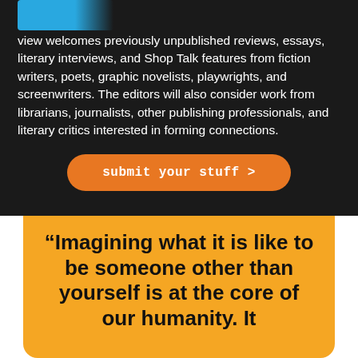view welcomes previously unpublished reviews, essays, literary interviews, and Shop Talk features from fiction writers, poets, graphic novelists, playwrights, and screenwriters. The editors will also consider work from librarians, journalists, other publishing professionals, and literary critics interested in forming connections.
submit your stuff >
“Imagining what it is like to be someone other than yourself is at the core of our humanity. It